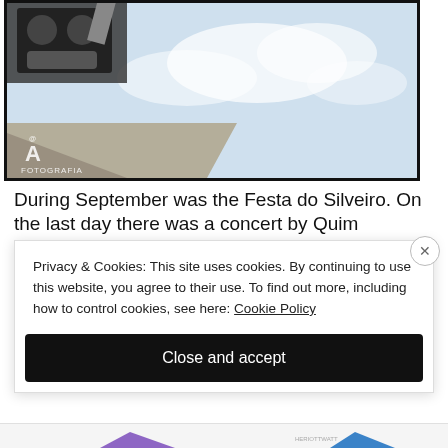[Figure (photo): Outdoor photo showing loudspeakers or stage equipment against a light blue cloudy sky, with a watermark logo 'A FOTOGRAFIA' in the bottom-left corner]
During September was the Festa do Silveiro. On the last day there was a concert by Quim
Privacy & Cookies: This site uses cookies. By continuing to use this website, you agree to their use. To find out more, including how to control cookies, see here: Cookie Policy
Close and accept